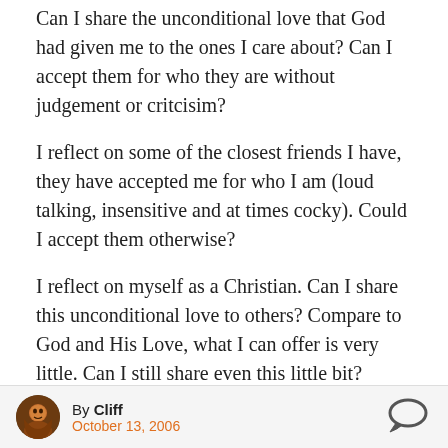Can I share the unconditional love that God had given me to the ones I care about? Can I accept them for who they are without judgement or critcisim?
I reflect on some of the closest friends I have, they have accepted me for who I am (loud talking, insensitive and at times cocky). Could I accept them otherwise?
I reflect on myself as a Christian. Can I share this unconditional love to others? Compare to God and His Love, what I can offer is very little. Can I still share even this little bit?
By Cliff October 13, 2006